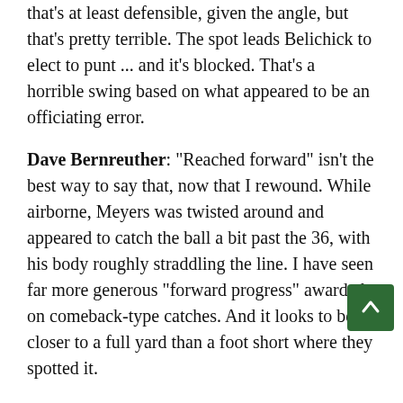that's at least defensible, given the angle, but that's pretty terrible. The spot leads Belichick to elect to punt ... and it's blocked. That's a horrible swing based on what appeared to be an officiating error.
Dave Bernreuther: "Reached forward" isn't the best way to say that, now that I rewound. While airborne, Meyers was twisted around and appeared to catch the ball a bit past the 36, with his body roughly straddling the line. I have seen far more generous "forward progress" awarded on comeback-type catches. And it looks to be closer to a full yard than a foot short where they spotted it.
Aaron Schatz: Oh my god, the Patriots just stuffed the Cowboys on four straight plays from the 1. Elliott twice, then Prescott, then Prescott lost control of the ball trying to go over the top on fourth down and what was originally called a touchdown got flipped to a fumble and Patriots